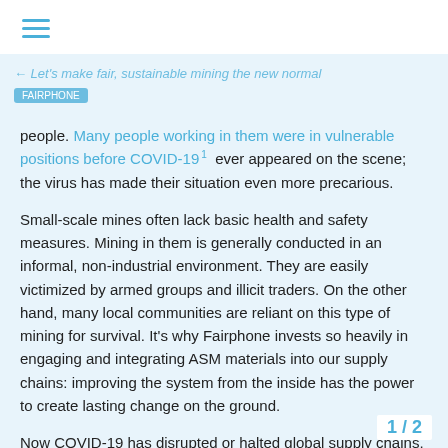≡ (hamburger menu icon)
← Let's make fair, sustainable mining the new normal
people. Many people working in them were in vulnerable positions before COVID-19 1 ever appeared on the scene; the virus has made their situation even more precarious.
Small-scale mines often lack basic health and safety measures. Mining in them is generally conducted in an informal, non-industrial environment. They are easily victimized by armed groups and illicit traders. On the other hand, many local communities are reliant on this type of mining for survival. It's why Fairphone invests so heavily in engaging and integrating ASM materials into our supply chains: improving the system from the inside has the power to create lasting change on the ground.
Now COVID-19 has disrupted or halted global supply chains, compounding the existing problems miners face. Workers and their dependents fac…
1 / 2